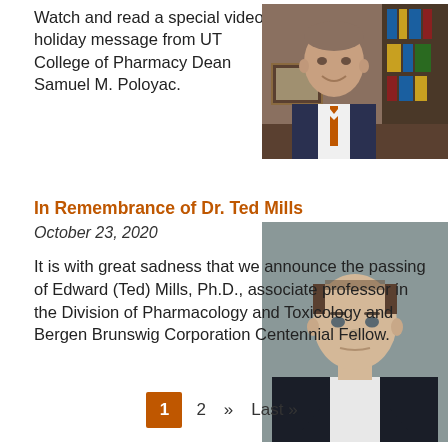Watch and read a special video holiday message from UT College of Pharmacy Dean Samuel M. Poloyac.
[Figure (photo): Portrait photo of UT College of Pharmacy Dean Samuel M. Poloyac, a man in a suit, seated in front of bookshelves]
In Remembrance of Dr. Ted Mills
October 23, 2020
It is with great sadness that we announce the passing of Edward (Ted) Mills, Ph.D., associate professor in the Division of Pharmacology and Toxicology and Bergen Brunswig Corporation Centennial Fellow.
[Figure (photo): Portrait photo of Dr. Ted Mills, a man in a dark suit with white shirt, against a gray background]
1  2  »  Last »